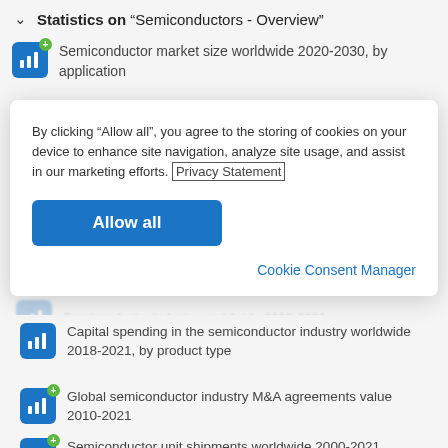Statistics on "Semiconductors - Overview"
Semiconductor market size worldwide 2020-2030, by application
By clicking “Allow all”, you agree to the storing of cookies on your device to enhance site navigation, analyze site usage, and assist in our marketing efforts. Privacy Statement
Allow all
Cookie Consent Manager
Semiconductor industry worldwide 2000-2021
Capital spending in the semiconductor industry worldwide 2018-2021, by product type
Global semiconductor industry M&A agreements value 2010-2021
Semiconductor unit shipments worldwide 2000-2021